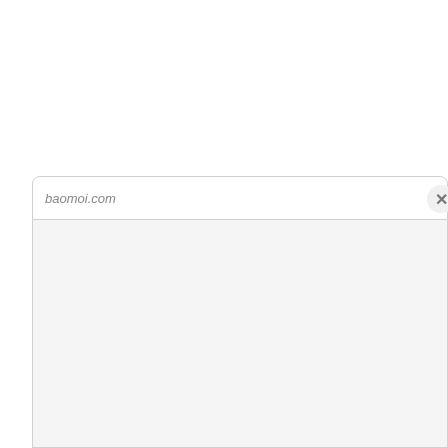[Figure (screenshot): Browser screenshot showing a URL bar with 'baomoi.com' and a close (X) button, with a light gray content area below]
baomoi.com